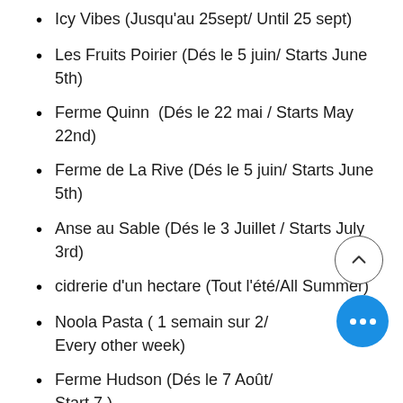Icy Vibes (Jusqu'au 25sept/ Until 25 sept)
Les Fruits Poirier (Dés le 5 juin/ Starts June 5th)
Ferme Quinn  (Dés le 22 mai / Starts May 22nd)
Ferme de La Rive (Dés le 5 juin/ Starts June 5th)
Anse au Sable (Dés le 3 Juillet / Starts July 3rd)
cidrerie d'un hectare (Tout l'été/All Summer)
Noola Pasta ( 1 semain sur 2/ Every other week)
Ferme Hudson (Dés le 7 Août/ Start 7 )
The Orchard Tender (Dés le 25...